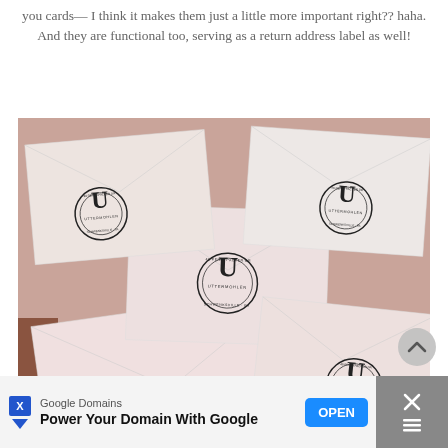you cards—I think it makes them just a little more important right?? haha. And they are functional too, serving as a return address label as well!
[Figure (photo): Photo of multiple pink/white envelopes scattered on a table, each stamped with a circular monogram seal reading 'U UTTERMOHLEN' with '49 PENNYPACKER DR · SCHWENKSVILLE · PA' around the edge]
[Figure (other): Google Domains advertisement bar at the bottom: 'Power Your Domain With Google' with an OPEN button]